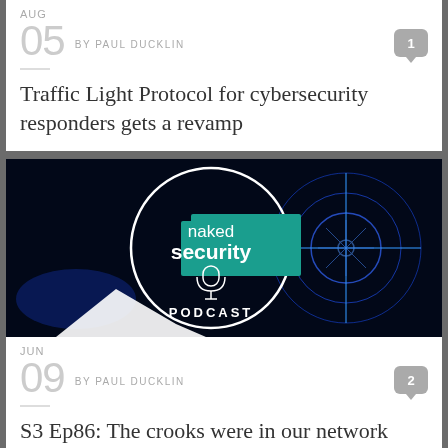AUG
05  BY PAUL DUCKLIN  1
Traffic Light Protocol for cybersecurity responders gets a revamp
[Figure (illustration): Naked Security Podcast logo — dark blue background with circular target/crosshair design, teal banner, microphone icon, text 'naked security PODCAST']
JUN
09  BY PAUL DUCKLIN  2
S3 Ep86: The crooks were in our network